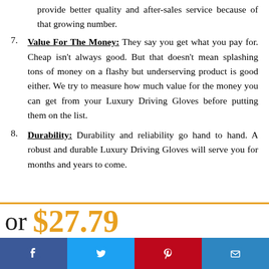provide better quality and after-sales service because of that growing number.
7. Value For The Money: They say you get what you pay for. Cheap isn't always good. But that doesn't mean splashing tons of money on a flashy but underserving product is good either. We try to measure how much value for the money you can get from your Luxury Driving Gloves before putting them on the list.
8. Durability: Durability and reliability go hand to hand. A robust and durable Luxury Driving Gloves will serve you for months and years to come.
or $27.79
[Figure (infographic): Social media share bar with Facebook, Twitter, Pinterest, and Email buttons]